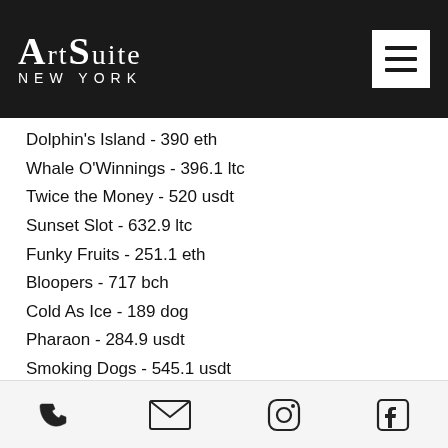[Figure (logo): ArtSuite New York logo in white text on black background with hamburger menu button]
Dolphin's Island - 390 eth
Whale O'Winnings - 396.1 ltc
Twice the Money - 520 usdt
Sunset Slot - 632.9 ltc
Funky Fruits - 251.1 eth
Bloopers - 717 bch
Cold As Ice - 189 dog
Pharaon - 284.9 usdt
Smoking Dogs - 545.1 usdt
Rainbow Jackpots - 182.5 dog
Popular Table Games:
Phone | Email | Instagram | Facebook